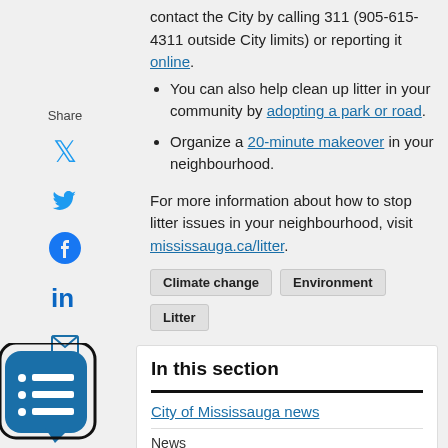contact the City by calling 311 (905-615-4311 outside City limits) or reporting it online.
You can also help clean up litter in your community by adopting a park or road.
Organize a 20-minute makeover in your neighbourhood.
For more information about how to stop litter issues in your neighbourhood, visit mississauga.ca/litter.
Climate change  Environment  Litter
In this section
City of Mississauga news
News